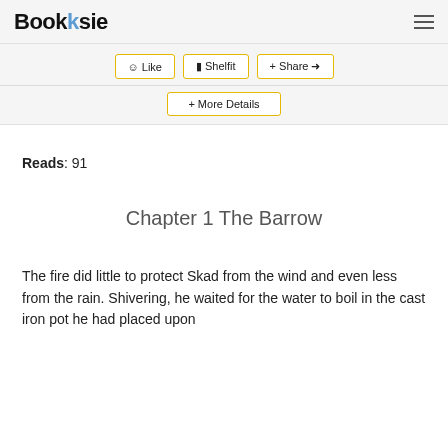Booksie
[Figure (other): Action buttons: Like, Shelfit, Share, and More Details]
Reads: 91
Chapter 1 The Barrow
The fire did little to protect Skad from the wind and even less from the rain. Shivering, he waited for the water to boil in the cast iron pot he had placed upon